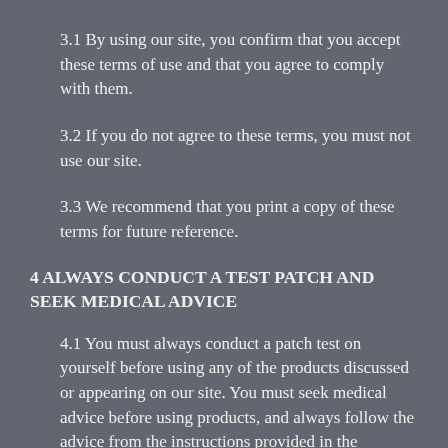3.1 By using our site, you confirm that you accept these terms of use and that you agree to comply with them.
3.2 If you do not agree to these terms, you must not use our site.
3.3 We recommend that you print a copy of these terms for future reference.
4 ALWAYS CONDUCT A TEST PATCH AND SEEK MEDICAL ADVICE
4.1 You must always conduct a patch test on yourself before using any of the products discussed or appearing on our site. You must seek medical advice before using products, and always follow the advice from the instructions provided in the